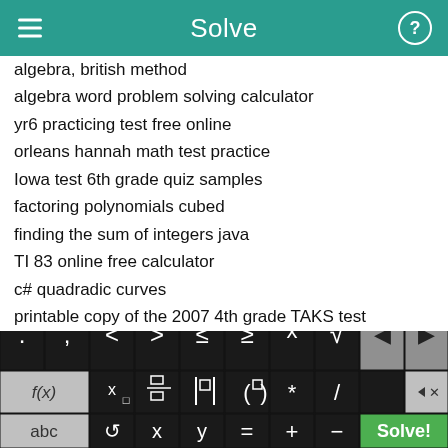Solve
algebra, british method
algebra word problem solving calculator
yr6 practicing test free online
orleans hannah math test practice
Iowa test 6th grade quiz samples
factoring polynomials cubed
finding the sum of integers java
TI 83 online free calculator
c# quadradic curves
printable copy of the 2007 4th grade TAKS test
[Figure (screenshot): On-screen math keyboard with digit keys 1-0, operator keys including <, >, ≤, ≥, x^, √, backspace, forward arrow, f(x), subscript x, fraction, absolute value, parentheses, *, /, delete button, abc, undo, x, y, =, +, -, and a green Solve! button]